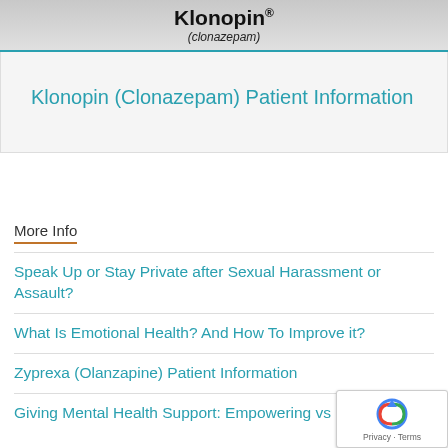[Figure (photo): Klonopin (clonazepam) drug label/packaging image with drug name and generic name displayed]
Klonopin (Clonazepam) Patient Information
More Info
Speak Up or Stay Private after Sexual Harassment or Assault?
What Is Emotional Health? And How To Improve it?
Zyprexa (Olanzapine) Patient Information
Giving Mental Health Support: Empowering vs…